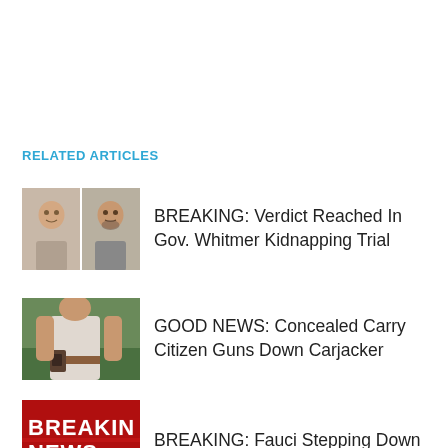RELATED ARTICLES
[Figure (photo): Two mugshot-style photos of men side by side]
BREAKING: Verdict Reached In Gov. Whitmer Kidnapping Trial
[Figure (photo): Man with concealed carry holster on belt]
GOOD NEWS: Concealed Carry Citizen Guns Down Carjacker
[Figure (photo): Breaking News graphic with red and white text]
BREAKING: Fauci Stepping Down